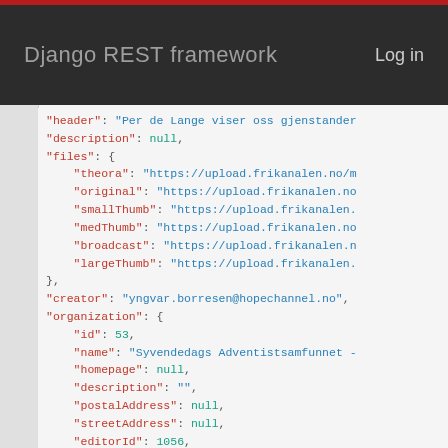Django REST framework  Log in
"header": "Per de Lange viser oss gjenstander
"description": null,
"files": {
    "theora": "https://upload.frikanalen.no/m
    "original": "https://upload.frikanalen.no
    "smallThumb": "https://upload.frikanalen.
    "medThumb": "https://upload.frikanalen.no
    "broadcast": "https://upload.frikanalen.n
    "largeThumb": "https://upload.frikanalen.
},
"creator": "yngvar.borresen@hopechannel.no",
"organization": {
    "id": 53,
    "name": "Syvendedags Adventistsamfunnet -
    "homepage": null,
    "description": "",
    "postalAddress": null,
    "streetAddress": null,
    "editorId": 1056,
    "editorName": "Yngvar Børresen",
    "editorEmail": "yngvar.borresen@hopechannel
    "editorMsisdn": "",
    "fkmember": false